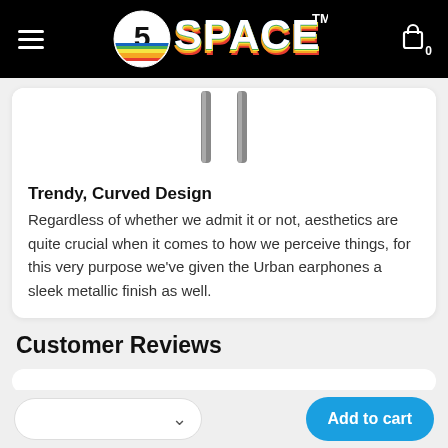SPACE (logo/navigation bar)
[Figure (photo): Partial top view of earphone stems/cables on white background inside a rounded card]
Trendy, Curved Design
Regardless of whether we admit it or not, aesthetics are quite crucial when it comes to how we perceive things, for this very purpose we've given the Urban earphones a sleek metallic finish as well.
Customer Reviews
Add to cart